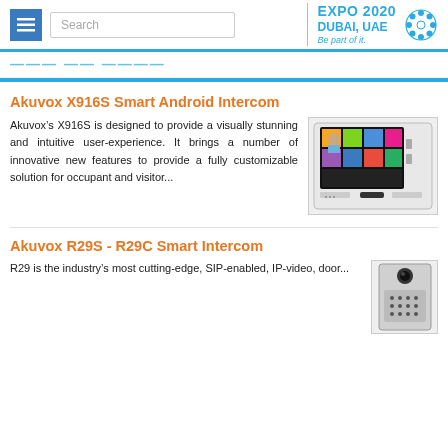Menu | Search | EXPO 2020 DUBAI, UAE Be part of it.
[Figure (screenshot): Partial page title bar showing truncated heading in blue text]
Akuvox X916S Smart Android Intercom
Akuvox’s X916S is designed to provide a visually stunning and intuitive user-experience. It brings a number of innovative new features to provide a fully customizable solution for occupant and visitor...
[Figure (photo): Akuvox X916S indoor intercom device with touchscreen showing colorful app tiles]
Akuvox R29S - R29C Smart Intercom
R29 is the industry’s most cutting-edge, SIP-enabled, IP-video, door...
[Figure (photo): Akuvox R29S outdoor intercom unit with keypad]